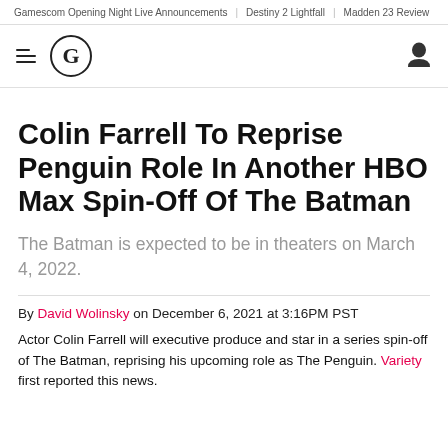Gamescom Opening Night Live Announcements | Destiny 2 Lightfall | Madden 23 Review
[Figure (logo): GameSpot navigation bar with hamburger menu icon, G circle logo, and user profile icon]
Colin Farrell To Reprise Penguin Role In Another HBO Max Spin-Off Of The Batman
The Batman is expected to be in theaters on March 4, 2022.
By David Wolinsky on December 6, 2021 at 3:16PM PST
Actor Colin Farrell will executive produce and star in a series spin-off of The Batman, reprising his upcoming role as The Penguin. Variety first reported this news.